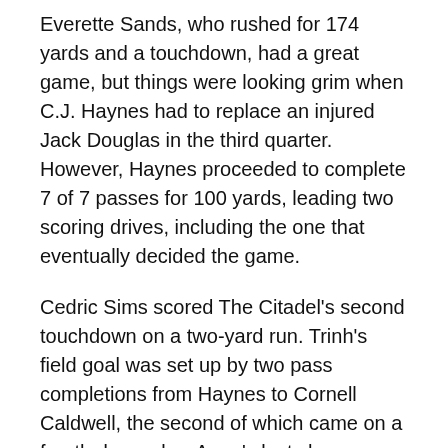Everette Sands, who rushed for 174 yards and a touchdown, had a great game, but things were looking grim when C.J. Haynes had to replace an injured Jack Douglas in the third quarter. However, Haynes proceeded to complete 7 of 7 passes for 100 yards, leading two scoring drives, including the one that eventually decided the game.
Cedric Sims scored The Citadel's second touchdown on a two-yard run. Trinh's field goal was set up by two pass completions from Haynes to Cornell Caldwell, the second of which came on a fourth down play. Army's last chance ended when the Bulldogs' Mike Wideman recovered a fumble. For the sixth time in seven tries, The Citadel had beaten a I-A opponent.
“This is,” Trinh said outside a jubilant locker room, “the